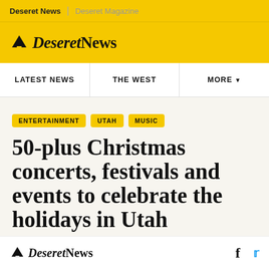Deseret News | Deseret Magazine
[Figure (logo): Deseret News logo with mountain/beehive icon and italic serif wordmark]
LATEST NEWS | THE WEST | MORE
ENTERTAINMENT
UTAH
MUSIC
50-plus Christmas concerts, festivals and events to celebrate the holidays in Utah
[Figure (logo): Deseret News bottom logo with mountain/beehive icon and italic serif wordmark]
[Figure (other): Facebook and Twitter social share icons]